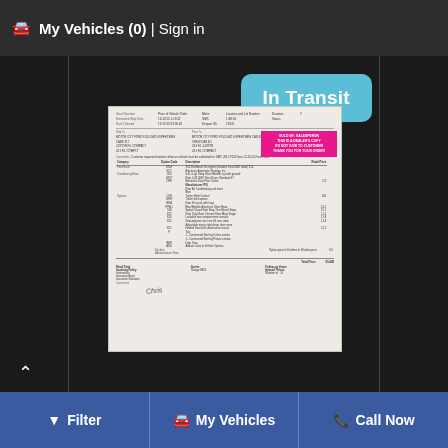My Vehicles (0) | Sign in
[Figure (screenshot): Screenshot of a vehicle listing page showing 'In Transit' badge in teal/blue color, with a document image below showing what appears to be a vehicle window sticker or invoice with a pink/magenta highlight box overlay]
Filter | My Vehicles | Call Now